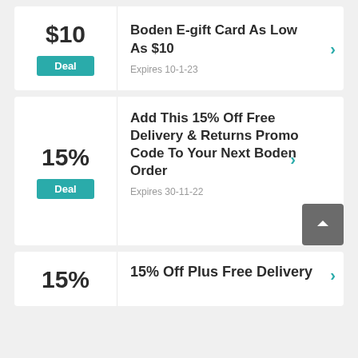$10
Deal
Boden E-gift Card As Low As $10
Expires 10-1-23
15%
Deal
Add This 15% Off Free Delivery & Returns Promo Code To Your Next Boden Order
Expires 30-11-22
15%
15% Off Plus Free Delivery